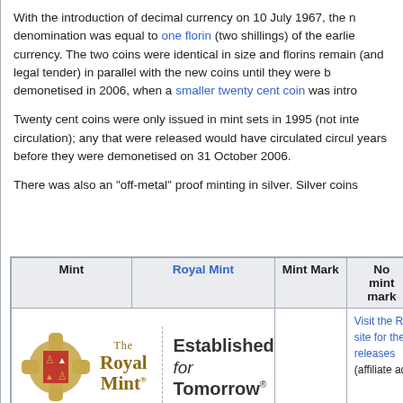With the introduction of decimal currency on 10 July 1967, the new denomination was equal to one florin (two shillings) of the earlier currency. The two coins were identical in size and florins remained (and legal tender) in parallel with the new coins until they were demonetised in 2006, when a smaller twenty cent coin was intro...
Twenty cent coins were only issued in mint sets in 1995 (not into circulation); any that were released would have circulated circul... years before they were demonetised on 31 October 2006.
There was also an "off-metal" proof minting in silver. Silver coins...
| Mint | Royal Mint | Mint Mark | No mint mark | Tot Min... |
| --- | --- | --- | --- | --- |
|  |  |  | Visit the Ro... site for the ... releases (affiliate ad... |